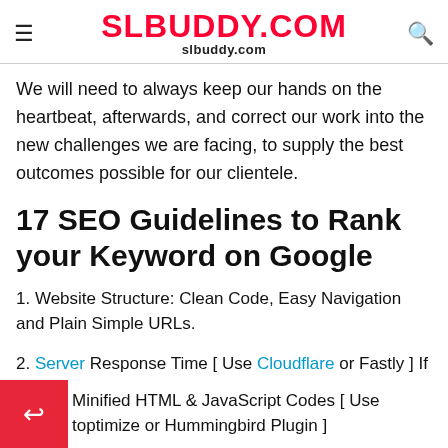SLBUDDY.COM / slbuddy.com
We will need to always keep our hands on the heartbeat, afterwards, and correct our work into the new challenges we are facing, to supply the best outcomes possible for our clientele.
17 SEO Guidelines to Rank your Keyword on Google
1. Website Structure: Clean Code, Easy Navigation and Plain Simple URLs.
2. Server Response Time [ Use Cloudflare or Fastly ] If You're on a Shared Hosting.
3. Minified HTML & JavaScript Codes [ Use toptimize or Hummingbird Plugin ]